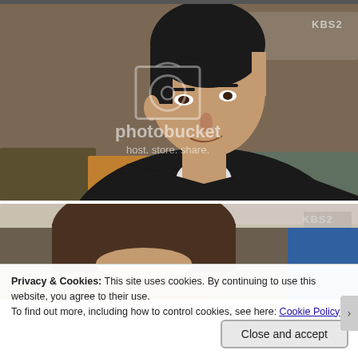[Figure (photo): Screenshot from KBS2 Korean drama showing a man in a dark suit leaning forward, with a Photobucket watermark overlay. KBS2 logo visible top right.]
[Figure (photo): Screenshot from KBS2 Korean drama showing partial view of a person's head/hair from behind. KBS2 logo visible top right.]
Privacy & Cookies: This site uses cookies. By continuing to use this website, you agree to their use.
To find out more, including how to control cookies, see here: Cookie Policy
Close and accept